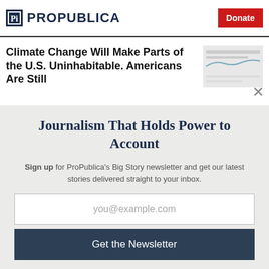ProPublica | Donate
Climate Change Will Make Parts of the U.S. Uninhabitable. Americans Are Still
Journalism That Holds Power to Account
Sign up for ProPublica's Big Story newsletter and get our latest stories delivered straight to your inbox.
you@example.com
Get the Newsletter
No thanks, I'm all set
This site is protected by reCAPTCHA and the Google Privacy Policy and Terms of Service apply.